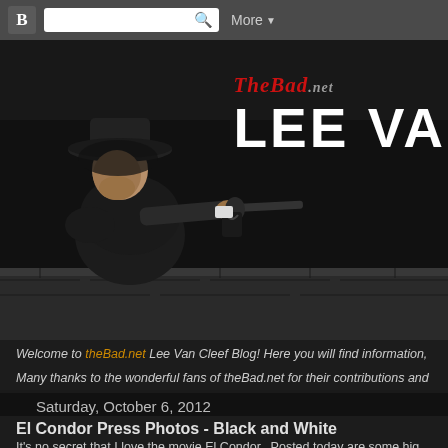Blogger navigation bar with search
[Figure (photo): Website banner for TheBad.net Lee Van Cleef blog. Left side shows a black and white photo of a man in a wide-brimmed hat aiming a revolver. Right side shows the site name 'TheBad.net' in red italic serif font and 'LEE VA' in large white bold uppercase text (partially cut off).]
Welcome to theBad.net Lee Van Cleef Blog! Here you will find information,
Many thanks to the wonderful fans of theBad.net for their contributions and
Saturday, October 6, 2012
El Condor Press Photos - Black and White
It's no secret that I love the movie El Condor.  Posted today are some hig El Condor.